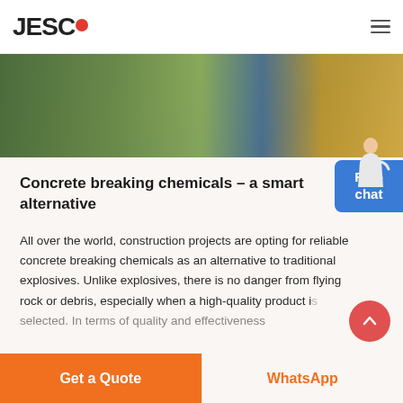JESCO
[Figure (photo): Construction site photograph showing industrial equipment, blue structural elements, and wooden materials in an outdoor setting]
Concrete breaking chemicals - a smart alternative
All over the world, construction projects are opting for reliable concrete breaking chemicals as an alternative to traditional explosives. Unlike explosives, there is no danger from flying rock or debris, especially when a high-quality product is selected. In terms of quality and effectiveness
Get a Quote | WhatsApp